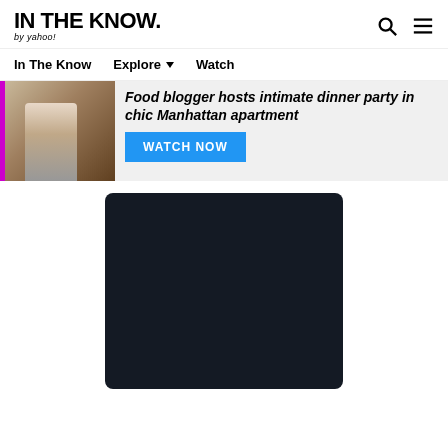IN THE KNOW. by yahoo!
In The Know   Explore ▾   Watch
Food blogger hosts intimate dinner party in chic Manhattan apartment
WATCH NOW
[Figure (other): Dark video/media player block]